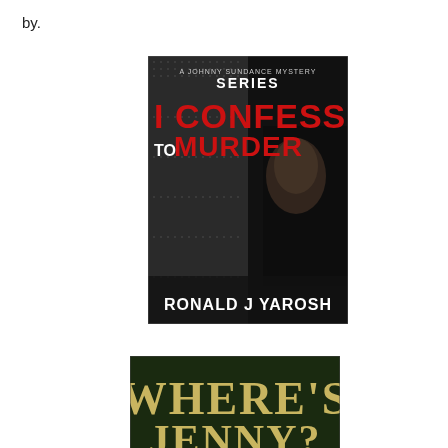by.
[Figure (illustration): Book cover for 'I Confess to Murder' – A Johnny Sundance Mystery Series by Ronald J Yarosh. Dark cover with a person's shadowed face peeking around a door, with textured dark background. Title 'I CONFESS TO MURDER' in red and white lettering. Author name 'RONALD J YAROSH' in bold white at bottom.]
[Figure (illustration): Partial book cover showing dark green background with gold serif text reading "WHERE'S" and partially visible text below it, cut off at bottom of page.]